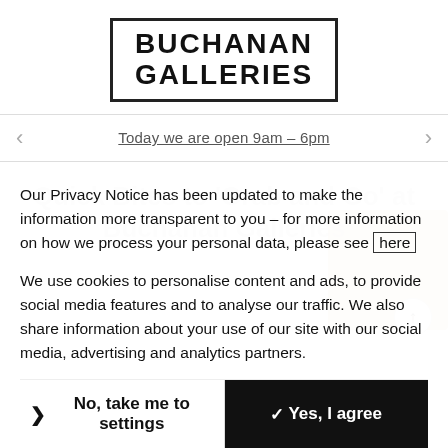[Figure (logo): Buchanan Galleries logo — bold text in a rectangular border box]
Today we are open 9am – 6pm
Quick Bites to 'Grab and Go' at Buchanan Galleries
Our Privacy Notice has been updated to make the information more transparent to you – for more information on how we process your personal data, please see here
We use cookies to personalise content and ads, to provide social media features and to analyse our traffic. We also share information about your use of our site with our social media, advertising and analytics partners.
❯ No, take me to settings    ✓ Yes, I agree